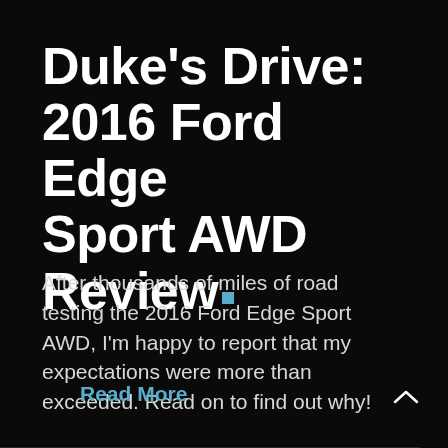Duke's Drive: 2016 Ford Edge Sport AWD Review .
After thousands of miles of road testing the 2016 Ford Edge Sport AWD, I'm happy to report that my expectations were more than exceeded. Read on to find out why!
Read More